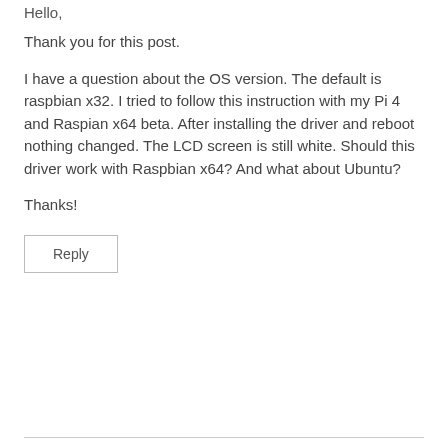Hello,
Thank you for this post.
I have a question about the OS version. The default is raspbian x32. I tried to follow this instruction with my Pi 4 and Raspian x64 beta. After installing the driver and reboot nothing changed. The LCD screen is still white. Should this driver work with Raspbian x64? And what about Ubuntu?
Thanks!
Reply